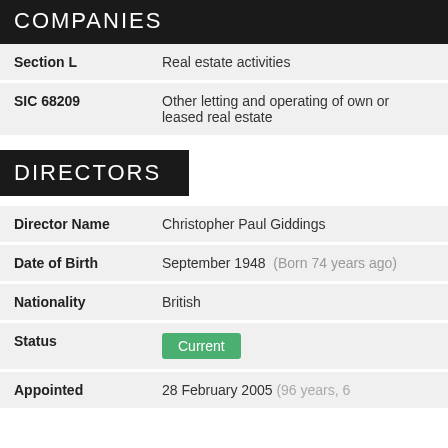COMPANIES
| Label | Value |
| --- | --- |
| Section L | Real estate activities |
| SIC 68209 | Other letting and operating of own or leased real estate |
DIRECTORS
| Field | Value |
| --- | --- |
| Director Name | Christopher Paul Giddings |
| Date of Birth | September 1948  (Born 74 years ago) |
| Nationality | British |
| Status | Current |
| Appointed | 28 February 2005  (96 years, 6 months from appointment) |